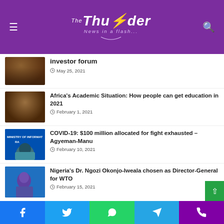The Thunder - News in a flash...
Investor Forum
May 25, 2021
Africa's Academic Situation: How people can get education in 2021
February 1, 2021
COVID-19: $100 million allocated for fight exhausted – Agyeman-Manu
February 10, 2021
Nigeria's Dr. Ngozi Okonjo-Iweala chosen as Director-General for WTO
February 15, 2021
Facebook | Twitter | WhatsApp | Telegram | Phone